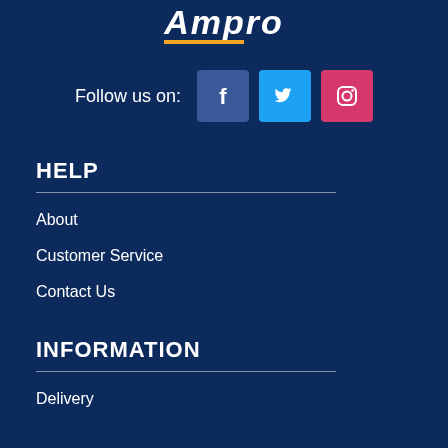[Figure (logo): Ampro logo with yellow underline, white italic bold text, on dark navy background]
Follow us on:
[Figure (illustration): Three social media icons: Facebook (blue), Twitter (light blue), Instagram (pink/red)]
HELP
About
Customer Service
Contact Us
INFORMATION
Delivery